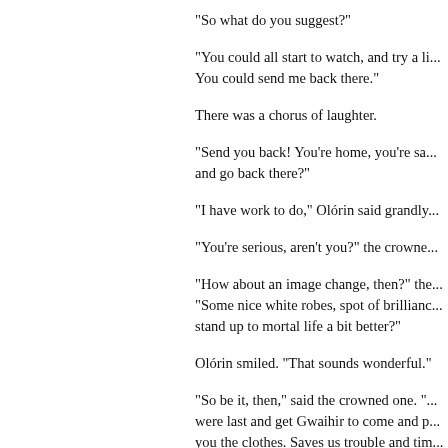"So what do you suggest?"
"You could all start to watch, and try a li... You could send me back there."
There was a chorus of laughter.
"Send you back! You're home, you're sa... and go back there?"
"I have work to do," Olórin said grandly...
"You're serious, aren't you?" the crowne...
"How about an image change, then?" the... "Some nice white robes, spot of brillianc... stand up to mortal life a bit better?"
Olórin smiled. "That sounds wonderful."
"So be it, then," said the crowned one. "... were last and get Gwaihir to come and p... you the clothes. Saves us trouble and tim... Ring is destroyed, I suggest you come ba... old Ulmo a heart attack, you did. He's g... Oh, and bring Galadriel with you. If she...